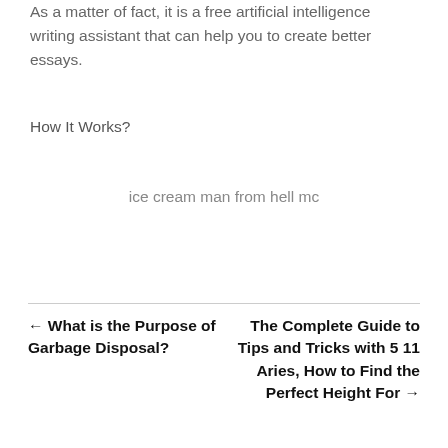As a matter of fact, it is a free artificial intelligence writing assistant that can help you to create better essays.
How It Works?
ice cream man from hell mc
← What is the Purpose of Garbage Disposal?
The Complete Guide to Tips and Tricks with 5 11 Aries, How to Find the Perfect Height For →